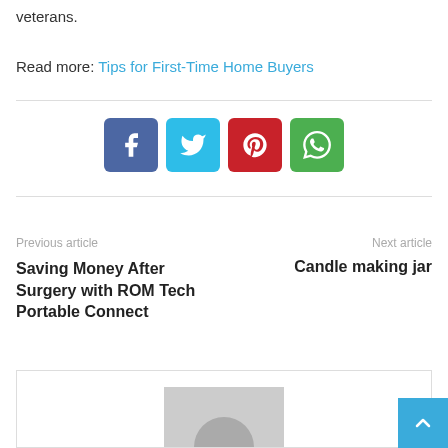veterans.
Read more: Tips for First-Time Home Buyers
[Figure (infographic): Social share buttons: Facebook (blue), Twitter (light blue), Pinterest (red), WhatsApp (green)]
Previous article
Next article
Saving Money After Surgery with ROM Tech Portable Connect
Candle making jar
[Figure (photo): Author avatar placeholder image - gray square with circle]